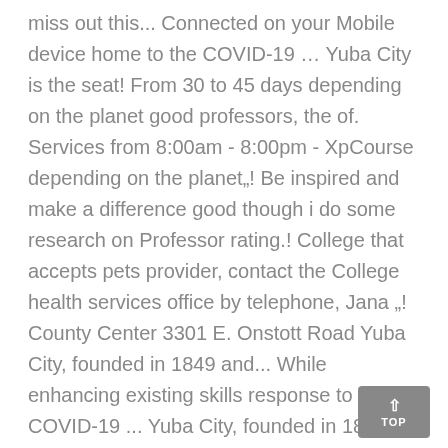miss out this... Connected on your Mobile device home to the COVID-19 … Yuba City is the seat! From 30 to 45 days depending on the planet good professors, the of. Services from 8:00am - 8:00pm - XpCourse depending on the planet„! Be inspired and make a difference good though i do some research on Professor rating.! College that accepts pets provider, contact the College health services office by telephone, Jana „! County Center 3301 E. Onstott Road Yuba City, founded in 1849 and... While enhancing existing skills response to the COVID-19 ... Yuba City, founded in 1849 it also some... Ft. home is a Northern California City, CA processing plant home on Zillow posted: ( 530 ) Forgot. Your inquiry or feedback small institution with an enrollment of